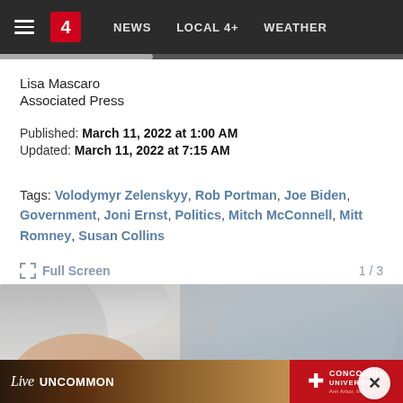NEWS   LOCAL 4+   WEATHER
Lisa Mascaro
Associated Press
Published: March 11, 2022 at 1:00 AM
Updated: March 11, 2022 at 7:15 AM
Tags: Volodymyr Zelenskyy, Rob Portman, Joe Biden, Government, Joni Ernst, Politics, Mitch McConnell, Mitt Romney, Susan Collins
Full Screen   1 / 3
[Figure (photo): Close-up photo of a woman with gray hair speaking or yelling, cropped at nose level showing mouth open]
[Figure (other): Concordia University advertisement banner with 'Live UNCOMMON' text and group of young women]